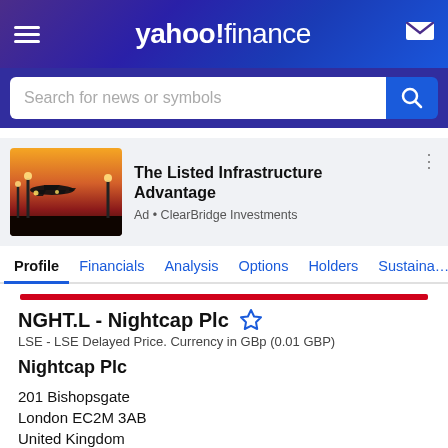yahoo! finance
Search for news or symbols
[Figure (photo): Airplane landing at sunset with terminal lights, advertisement for ClearBridge Investments - The Listed Infrastructure Advantage]
The Listed Infrastructure Advantage
Ad • ClearBridge Investments
Profile  Financials  Analysis  Options  Holders  Sustaina…
NGHT.L - Nightcap Plc
LSE - LSE Delayed Price. Currency in GBp (0.01 GBP)
Nightcap Plc
201 Bishopsgate
London EC2M 3AB
United Kingdom